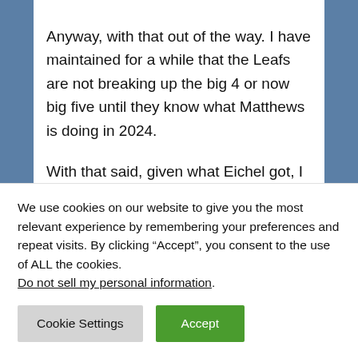Anyway, with that out of the way. I have maintained for a while that the Leafs are not breaking up the big 4 or now big five until they know what Matthews is doing in 2024.
With that said, given what Eichel got, I am salivating at the thought of what Matthews would
We use cookies on our website to give you the most relevant experience by remembering your preferences and repeat visits. By clicking “Accept”, you consent to the use of ALL the cookies. Do not sell my personal information.